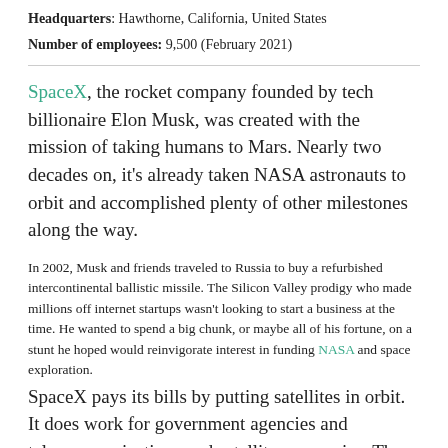Headquarters: Hawthorne, California, United States
Number of employees: 9,500 (February 2021)
SpaceX, the rocket company founded by tech billionaire Elon Musk, was created with the mission of taking humans to Mars. Nearly two decades on, it's already taken NASA astronauts to orbit and accomplished plenty of other milestones along the way.
In 2002, Musk and friends traveled to Russia to buy a refurbished intercontinental ballistic missile. The Silicon Valley prodigy who made millions off internet startups wasn't looking to start a business at the time. He wanted to spend a big chunk, or maybe all of his fortune, on a stunt he hoped would reinvigorate interest in funding NASA and space exploration.
SpaceX pays its bills by putting satellites in orbit. It does work for government agencies and telecommunications and satellite companies. The